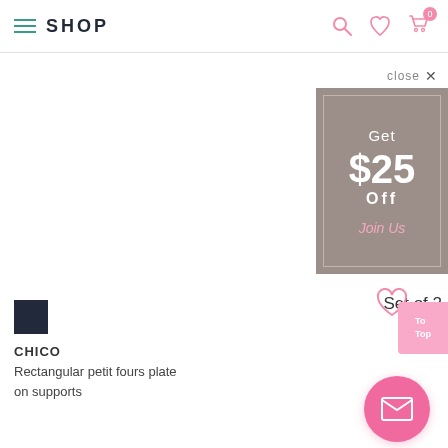SHOP
[Figure (screenshot): Small dark square product image placeholder]
CHICO
Rectangular petit fours plate on supports
close ✕
[Figure (infographic): Gray coupon popup box with inner border. Contains: Get $25 Off Join Us]
Set of 2
[Figure (infographic): Pink heart icon, pink To Top button, pink mail/envelope circular button at bottom right]